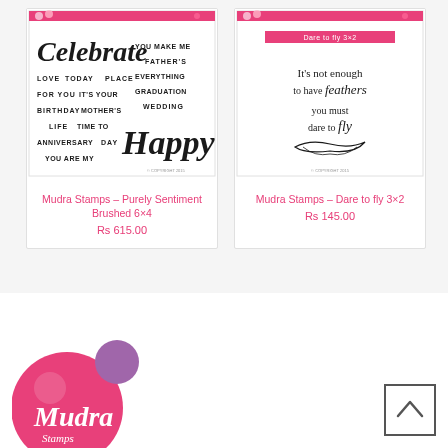[Figure (other): Product card: Mudra Stamps stamp sheet showing 'Celebrate' and 'Happy' text with various occasion words (Purely Sentiment Brushed 6x4)]
Mudra Stamps – Purely Sentiment Brushed 6×4
Rs 615.00
[Figure (other): Product card: Mudra Stamps stamp sheet showing 'It's not enough to have feathers you must dare to fly' calligraphy (Dare to fly 3x2)]
Mudra Stamps – Dare to fly 3×2
Rs 145.00
[Figure (logo): Mudra Stamps logo - partial view at bottom left with pink circular design and cursive Mudra text]